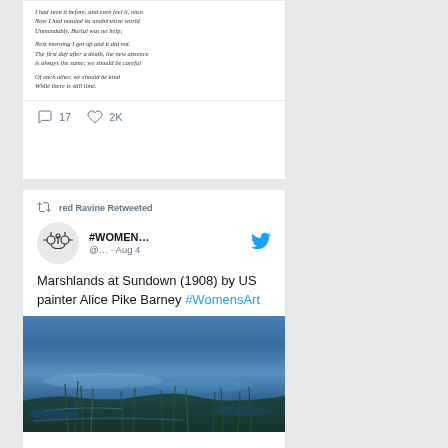[Figure (screenshot): Top portion of a tweet showing a poem with engagement stats: 17 comments, 2K likes]
I had seen it before, and even feel it, once. Now I had mauled its unobtrusive world Unmendably. Burial was no help; Next morning I got up and it did not. The first day after a death, the new absence is always the same; we should be careful Of each other, we should be kind While there is still time.
17  2K
red Ravine Retweeted
#WOMEN... @... · Aug 4
Marshlands at Sundown (1908) by US painter Alice Pike Barney #WomensArt
[Figure (photo): Painting of marshlands at sundown, blue and green tones with water and reeds, Marshlands at Sundown (1908) by Alice Pike Barney]